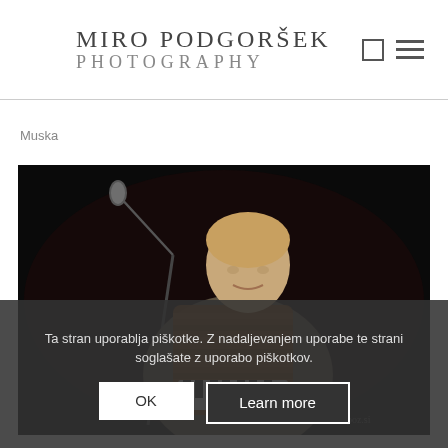MIRO PODGORŠEK PHOTOGRAPHY
Muska
[Figure (photo): A musician playing an accordion on a dark stage, with a microphone stand to the left. The performer is a man with light hair, leaning over the instrument in concentration.]
Ta stran uporablja piškotke. Z nadaljevanjem uporabe te strani soglašate z uporabo piškotkov.
OK   Learn more